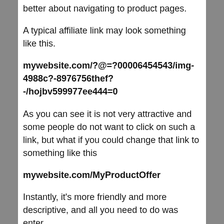better about navigating to product pages.
A typical affiliate link may look something like this.
mywebsite.com/?@=?00006454543/img-4988c?-8976756thef?-/hojbv599977ee444=0
As you can see it is not very attractive and some people do not want to click on such a link, but what if you could change that link to something like this
mywebsite.com/MyProductOffer
Instantly, it's more friendly and more descriptive, and all you need to do was enter